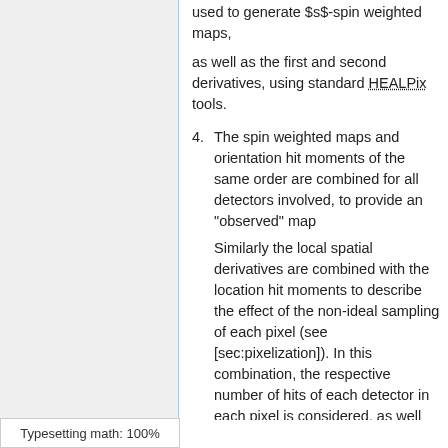used to generate $s$-spin weighted maps,
as well as the first and second derivatives, using standard HEALPix tools.
4. The spin weighted maps and orientation hit moments of the same order are combined for all detectors involved, to provide an “observed” map
Similarly the local spatial derivatives are combined with the location hit moments to describe the effect of the non-ideal sampling of each pixel (see [sec:pixelization]). In this combination, the respective number of hits of each detector in each pixel is considered, as well
Typesetting math: 100%